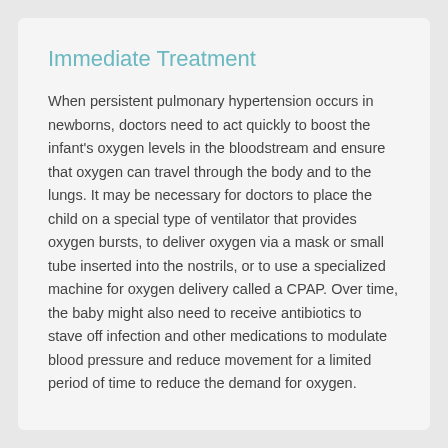Immediate Treatment
When persistent pulmonary hypertension occurs in newborns, doctors need to act quickly to boost the infant's oxygen levels in the bloodstream and ensure that oxygen can travel through the body and to the lungs. It may be necessary for doctors to place the child on a special type of ventilator that provides oxygen bursts, to deliver oxygen via a mask or small tube inserted into the nostrils, or to use a specialized machine for oxygen delivery called a CPAP. Over time, the baby might also need to receive antibiotics to stave off infection and other medications to modulate blood pressure and reduce movement for a limited period of time to reduce the demand for oxygen.